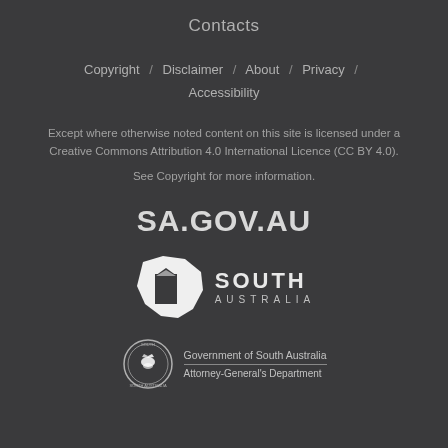Contacts
Copyright / Disclaimer / About / Privacy / Accessibility
Except where otherwise noted content on this site is licensed under a Creative Commons Attribution 4.0 International Licence (CC BY 4.0).
See Copyright for more information.
SA.GOV.AU
[Figure (logo): South Australia state government logo — white stylized map of Australia with building/door icon, with 'SOUTH AUSTRALIA' text]
[Figure (logo): Government of South Australia, Attorney-General's Department — circular seal with piping shrike bird, with department name text]